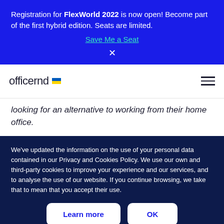Registration for FlexWorld 2022 is now open! Become part of the first hybrid edition. Seats are limited.
Save Me a Seat
×
[Figure (logo): officernd logo with Ukrainian flag icon and hamburger menu icon]
looking for an alternative to working from their home office.
We've updated the information on the use of your personal data contained in our Privacy and Cookies Policy. We use our own and third-party cookies to improve your experience and our services, and to analyse the use of our website. If you continue browsing, we take that to mean that you accept their use.
Learn more
OK